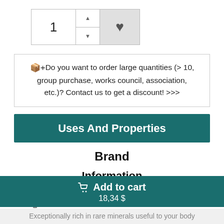[Figure (screenshot): Quantity selector with number 1, stepper arrows, and heart/wishlist button]
Do you want to order large quantities (> 10, group purchase, works council, association, etc.)? Contact us to get a discount! >>>
Uses And Properties
Brand
Information
Our Organic Herbalist Shop
Add to cart 18,34 $
Exceptionally rich in rare minerals useful to your body